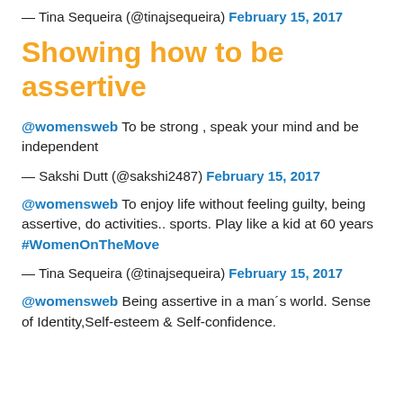— Tina Sequeira (@tinajsequeira) February 15, 2017
Showing how to be assertive
@womensweb To be strong , speak your mind and be independent
— Sakshi Dutt (@sakshi2487) February 15, 2017
@womensweb To enjoy life without feeling guilty, being assertive, do activities.. sports. Play like a kid at 60 years #WomenOnTheMove
— Tina Sequeira (@tinajsequeira) February 15, 2017
@womensweb Being assertive in a man´s world. Sense of Identity,Self-esteem & Self-confidence.